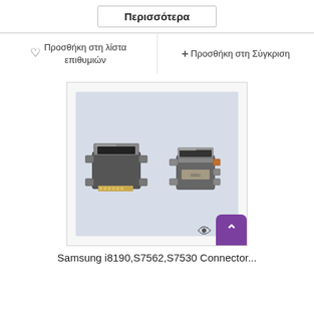Περισσότερα
♡  Προσθήκη στη λίστα επιθυμιών
+ Προσθήκη στη Σύγκριση
[Figure (photo): Two micro USB connector components shown from front and side angles on a light blue/grey background]
Samsung i8190,S7562,S7530 Connector...